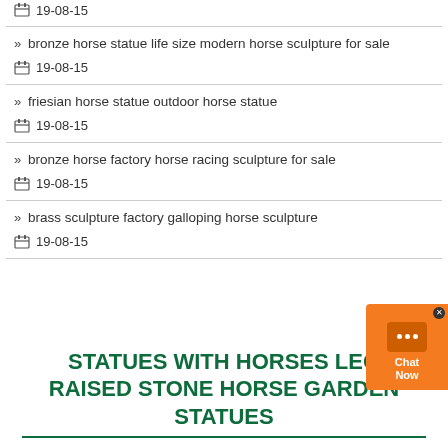19-08-15
» bronze horse statue life size modern horse sculpture for sale
19-08-15
» friesian horse statue outdoor horse statue
19-08-15
» bronze horse factory horse racing sculpture for sale
19-08-15
» brass sculpture factory galloping horse sculpture
19-08-15
STATUES WITH HORSES LEG RAISED STONE HORSE GARDEN STATUES